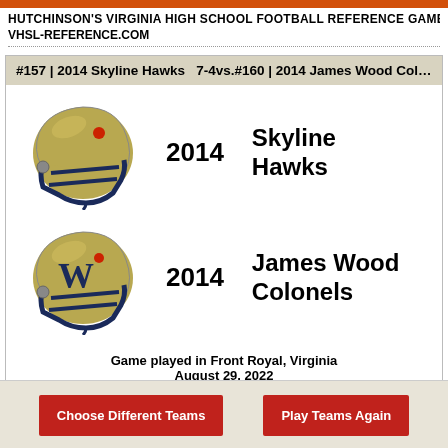HUTCHINSON'S VIRGINIA HIGH SCHOOL FOOTBALL REFERENCE GAME SIM
VHSL-REFERENCE.COM
#157 | 2014 Skyline Hawks  7-4 vs. #160 | 2014 James Wood Colonels
2014  Skyline Hawks
2014  James Wood Colonels
Game played in Front Royal, Virginia
August 29, 2022
Skyline is favored to win this game 51% of the time
Choose Different Teams
Play Teams Again